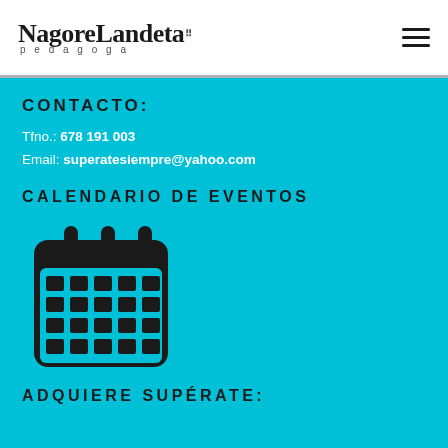NagoreLandeta pedagogoga
CONTACTO:
Tfno.: 678 191 003
Email: superatesiempre@yahoo.com
CALENDARIO DE EVENTOS
[Figure (illustration): Black calendar icon with rings/spirals at top and a grid of squares representing calendar days, on cyan background]
ADQUIERE SUPÉRATE: